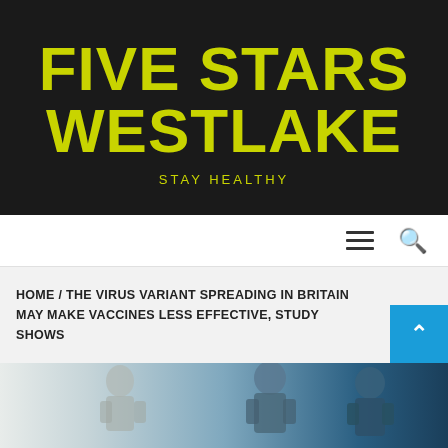FIVE STARS WESTLAKE
STAY HEALTHY
☰  🔍
HOME / THE VIRUS VARIANT SPREADING IN BRITAIN MAY MAKE VACCINES LESS EFFECTIVE, STUDY SHOWS
[Figure (photo): Medical workers or scientists in protective gear, blue-toned photograph]